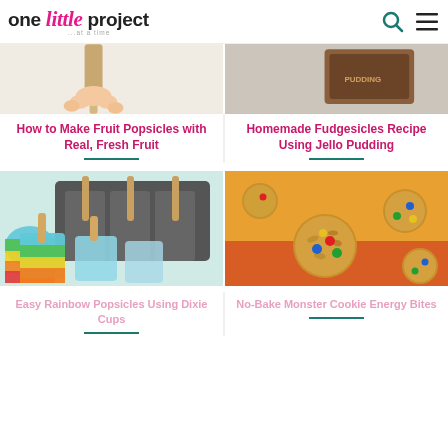one little project ...at a time
[Figure (photo): Partial photo of fruit popsicle with popsicle stick held by hand, top portion cut off]
[Figure (photo): Partial photo of homemade fudgesicle packaging, top portion cut off]
How to Make Fruit Popsicles with Real, Fresh Fruit
Homemade Fudgesicles Recipe Using Jello Pudding
[Figure (photo): Rainbow popsicles in Dixie cups with popsicle sticks, colorful layered popsicle mold tray in background]
[Figure (photo): No-bake monster cookie energy bites with M&M candies and oats on a silicone baking mat]
Easy Rainbow Popsicles Using Dixie Cups
No-Bake Monster Cookie Energy Bites